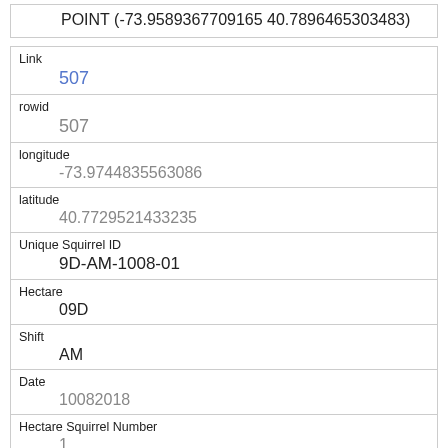POINT (-73.9589367709165 40.7896465303483)
| Field | Value |
| --- | --- |
| Link | 507 |
| rowid | 507 |
| longitude | -73.9744835563086 |
| latitude | 40.7729521433235 |
| Unique Squirrel ID | 9D-AM-1008-01 |
| Hectare | 09D |
| Shift | AM |
| Date | 10082018 |
| Hectare Squirrel Number | 1 |